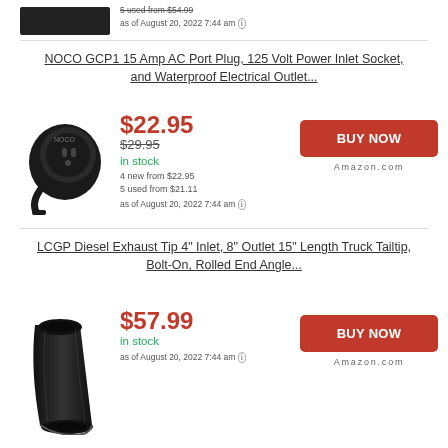[Figure (photo): Black rectangular device (top partial item)]
5 used from $54.99
as of August 20, 2022 7:44 am
NOCO GCP1 15 Amp AC Port Plug, 125 Volt Power Inlet Socket, and Waterproof Electrical Outlet...
[Figure (photo): NOCO GCP1 power plug adapter with cable]
$22.95
$29.95
in stock
4 new from $22.95
5 used from $21.11
as of August 20, 2022 7:44 am
BUY NOW
Amazon.com
LCGP Diesel Exhaust Tip 4" Inlet, 8" Outlet 15" Length Truck Tailtip, Bolt-On, Rolled End Angle...
[Figure (photo): Black diesel exhaust tip]
$57.99
in stock
as of August 20, 2022 7:44 am
BUY NOW
Amazon.com